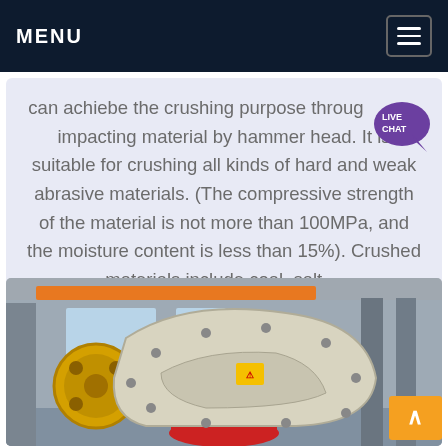MENU
can achiebe the crushing purpose through impacting material by hammer head. It is suitable for crushing all kinds of hard and weak abrasive materials. (The compressive strength of the material is not more than 100MPa, and the moisture content is less than 15%). Crushed materials include coal, salt ...
[Figure (photo): Industrial hammer crusher machine on a factory floor, showing a large beige/cream-colored rotor assembly with red base wheel, yellow flywheel on the left, and steel structural columns in the background.]